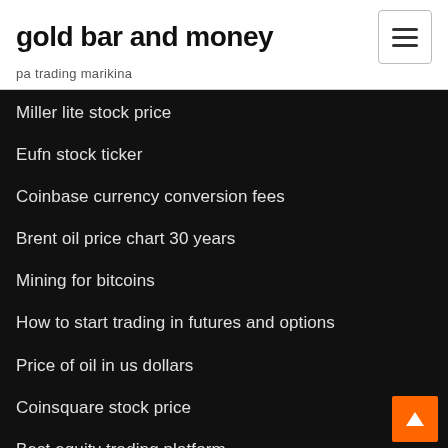gold bar and money
pa trading marikina
Miller lite stock price
Eufn stock ticker
Coinbase currency conversion fees
Brent oil price chart 30 years
Mining for bitcoins
How to start trading in futures and options
Price of oil in us dollars
Coinsquare stock price
Best equity trading platform
Td bank stock login